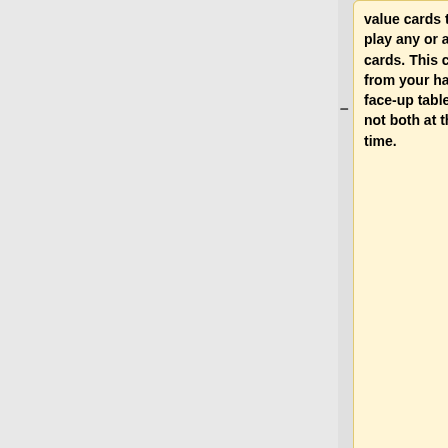value cards they may play any or all of those cards. This can be done from your hand or the face-up table cards, but not both at the same time.
(right column top - empty/blue box)
For example 2 Jacks, or 4 Kings.
|style="text-align:left;"|Plays {{heart|=3}} {{club|=3}} .
|- (row separator)
'''Rank order (Ace high):'''
|'''B'''
|-